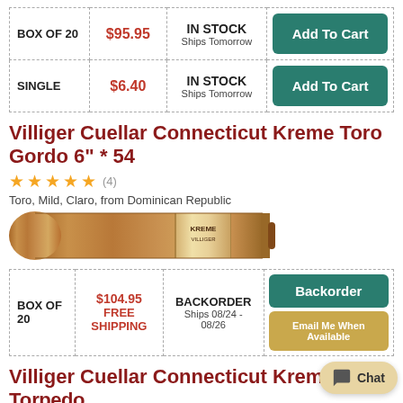| Type | Price | Availability | Action |
| --- | --- | --- | --- |
| BOX OF 20 | $95.95 | IN STOCK
Ships Tomorrow | Add To Cart |
| SINGLE | $6.40 | IN STOCK
Ships Tomorrow | Add To Cart |
Villiger Cuellar Connecticut Kreme Toro Gordo 6" * 54
★★★★★ (4)
Toro, Mild, Claro, from Dominican Republic
[Figure (photo): Photo of a cigar with a band label]
| Type | Price | Availability | Action |
| --- | --- | --- | --- |
| BOX OF 20 | $104.95 FREE SHIPPING | BACKORDER Ships 08/24 - 08/26 | Backorder / Email Me When Available |
Villiger Cuellar Connecticut Kreme Torpedo 6"1/4 * 52